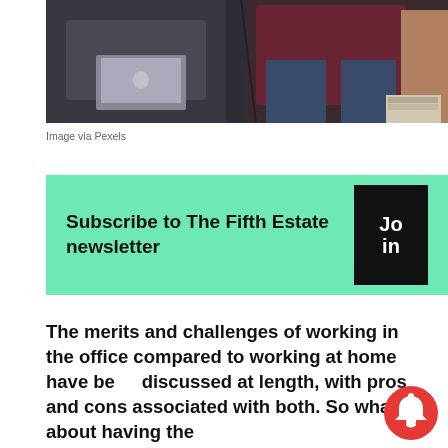[Figure (photo): Two people sitting in an office/casual setting, one using a laptop, photographed from a partial angle. Image cropped showing lower halves and partial upper bodies.]
Image via Pexels
Subscribe to The Fifth Estate newsletter  Join
The merits and challenges of working in the office compared to working at home have been discussed at length, with pros and cons associated with both. So what about having the